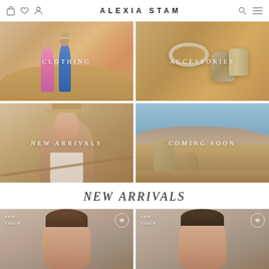ALEXIA STAM - Navigation bar with shopping bag, heart, user, search, and menu icons
[Figure (photo): Two women in pink and blue dresses standing in desert sand dunes with text overlay CLOTHING]
[Figure (photo): Silver ring accessories on sandy surface with text overlay ACCESSORIES]
[Figure (photo): Woman in hat sitting in desert setting with text overlay NEW ARRIVALS]
[Figure (photo): Desert rocky landscape with text overlay COMING SOON]
NEW ARRIVALS
[Figure (photo): Model portrait with FEW STOCK badge and wishlist heart icon]
[Figure (photo): Model portrait with FEW STOCK badge and wishlist heart icon]